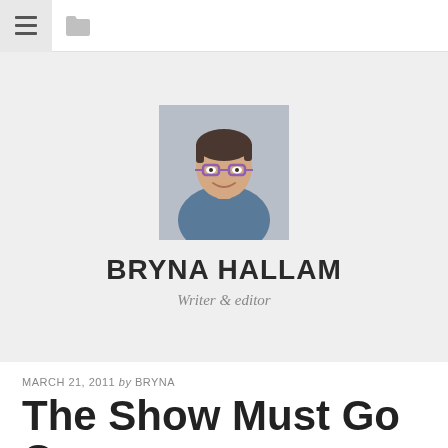Navigation bar with hamburger menu and folder icon
[Figure (photo): Portrait photo of a woman with short dark hair and purple glasses, wearing a blue denim shirt, smiling]
BRYNA HALLAM
Writer & editor
MARCH 21, 2011 by BRYNA
The Show Must Go On